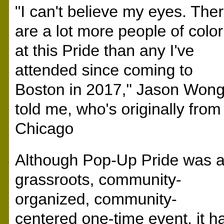“I can’t believe my eyes. There are a lot more people of color at this Pride than any I’ve attended since coming to Boston in 2017,” Jason Wong told me, who’s originally from Chicago
Although Pop-Up Pride was a grassroots, community-organized, community-centered one-time event, it has laid a solid foundation for future Pride events serving Greater Boston with a rally with diverse community speakers, local artists, musicians, performers, community tables, food vendors, a family area, an LGBTQ+ youth area, and support from nonprofits.